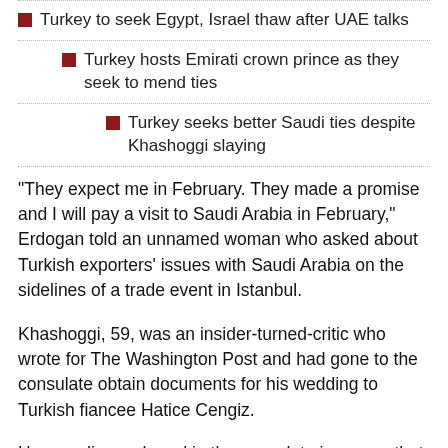Turkey to seek Egypt, Israel thaw after UAE talks
Turkey hosts Emirati crown prince as they seek to mend ties
Turkey seeks better Saudi ties despite Khashoggi slaying
"They expect me in February. They made a promise and I will pay a visit to Saudi Arabia in February," Erdogan told an unnamed woman who asked about Turkish exporters' issues with Saudi Arabia on the sidelines of a trade event in Istanbul.
Khashoggi, 59, was an insider-turned-critic who wrote for The Washington Post and had gone to the consulate obtain documents for his wedding to Turkish fiancee Hatice Cengiz.
He was dismembered in the consulate in a case that tarnished the reputation of the Saudi Crown Prince Mohamed bin Salman despite his strenuous denial of any